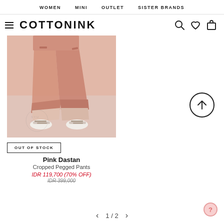WOMEN  MINI  OUTLET  SISTER BRANDS
COTTONINK
[Figure (photo): Pink cropped pegged pants worn by a model, showing from the waist down, styled with white sandals. Pink/salmon color trousers with cuffed hems.]
OUT OF STOCK
Pink Dastan
Cropped Pegged Pants
IDR 119,700 (70% OFF)
IDR 399,000
1 / 2